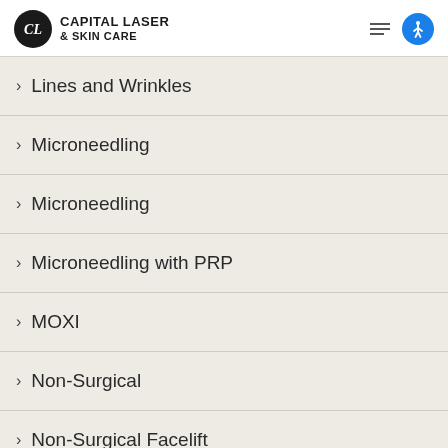[Figure (logo): Capital Laser & Skin Care logo with circular CL emblem on left and business name on right]
Lines and Wrinkles
Microneedling
Microneedling
Microneedling with PRP
MOXI
Non-Surgical
Non-Surgical Facelift
Non-Surgical Rejuvenation